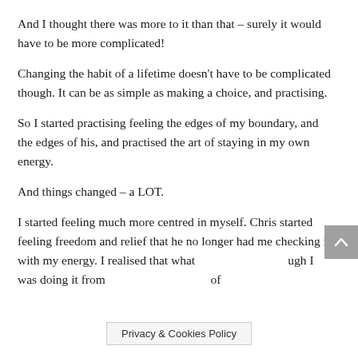And I thought there was more to it than that – surely it would have to be more complicated!
Changing the habit of a lifetime doesn't have to be complicated though. It can be as simple as making a choice, and practising.
So I started practising feeling the edges of my boundary, and the edges of his, and practised the art of staying in my own energy.
And things changed – a LOT.
I started feeling much more centred in myself. Chris started feeling freedom and relief that he no longer had me checking in with my energy. I realised that what [obscured] ugh I was doing it from [obscured] of
Privacy & Cookies Policy